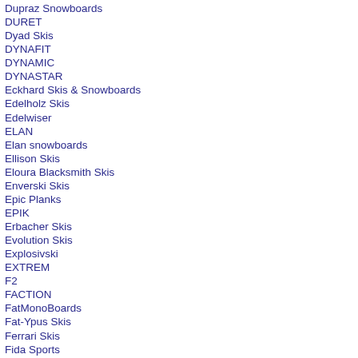Dupraz Snowboards
DURET
Dyad Skis
DYNAFIT
DYNAMIC
DYNASTAR
Eckhard Skis & Snowboards
Edelholz Skis
Edelwiser
ELAN
Elan snowboards
Ellison Skis
Eloura Blacksmith Skis
Enverski Skis
Epic Planks
EPIK
Erbacher Skis
Evolution Skis
Explosivski
EXTREM
F2
FACTION
FatMonoBoards
Fat-Ypus Skis
Ferrari Skis
Fida Sports
Fimbul Skis
Find
FISCHER
Five Axis
Flo Skis
Flow
Folsom Custom Skis